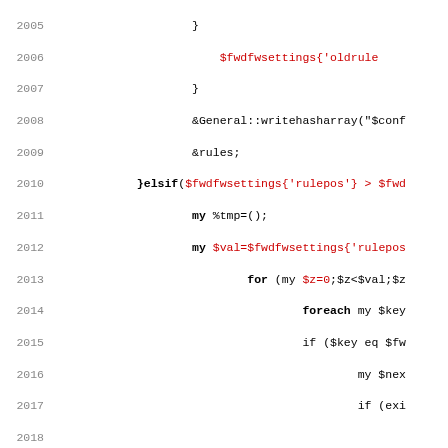[Figure (screenshot): Source code listing (Perl) with line numbers 2005-2037, showing code with black and red syntax-highlighted tokens on white background. Lines 2018-2029 are blank. The code involves fwdfwsettings hash access, writehasharray calls, elsif blocks, loops with foreach and for, and variable assignments.]